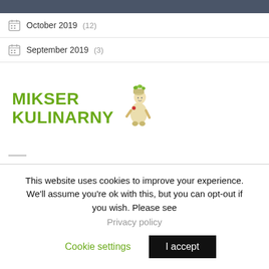October 2019 (12)
September 2019 (3)
[Figure (logo): Mikser Kulinarny logo with green text and illustrated character]
This website uses cookies to improve your experience. We'll assume you're ok with this, but you can opt-out if you wish. Please see
Privacy policy
Cookie settings
I accept